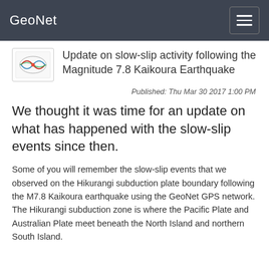GeoNet
Update on slow-slip activity following the Magnitude 7.8 Kaikoura Earthquake
Published: Thu Mar 30 2017 1:00 PM
We thought it was time for an update on what has happened with the slow-slip events since then.
Some of you will remember the slow-slip events that we observed on the Hikurangi subduction plate boundary following the M7.8 Kaikoura earthquake using the GeoNet GPS network. The Hikurangi subduction zone is where the Pacific Plate and Australian Plate meet beneath the North Island and northern South Island.